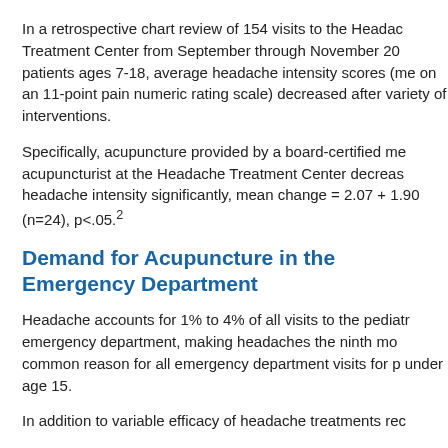In a retrospective chart review of 154 visits to the Headache Treatment Center from September through November 20..., patients ages 7-18, average headache intensity scores (me... on an 11-point pain numeric rating scale) decreased after a variety of interventions.
Specifically, acupuncture provided by a board-certified me... acupuncturist at the Headache Treatment Center decreas... headache intensity significantly, mean change = 2.07 + 1.90 (n=24), p<.05.2
Demand for Acupuncture in the Emergency Department
Headache accounts for 1% to 4% of all visits to the pediatr... emergency department, making headaches the ninth mo... common reason for all emergency department visits for p... under age 15.
In addition to variable efficacy of headache treatments rec...